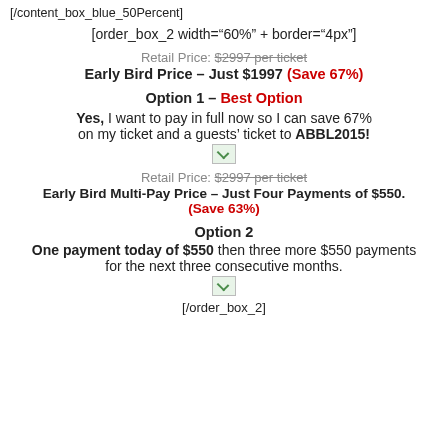[/content_box_blue_50Percent]
[order_box_2 width="60%" + border="4px"]
Retail Price: $2997 per ticket
Early Bird Price – Just $1997 (Save 67%)
Option 1 – Best Option
Yes, I want to pay in full now so I can save 67% on my ticket and a guests' ticket to ABBL2015!
[Figure (other): Small broken image icon]
Retail Price: $2997 per ticket
Early Bird Multi-Pay Price – Just Four Payments of $550. (Save 63%)
Option 2
One payment today of $550 then three more $550 payments for the next three consecutive months.
[Figure (other): Small broken image icon]
[/order_box_2]